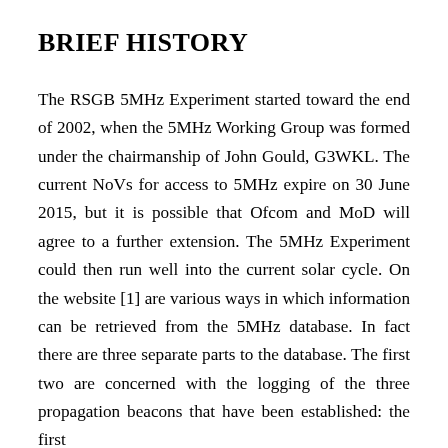BRIEF HISTORY
The RSGB 5MHz Experiment started toward the end of 2002, when the 5MHz Working Group was formed under the chairmanship of John Gould, G3WKL. The current NoVs for access to 5MHz expire on 30 June 2015, but it is possible that Ofcom and MoD will agree to a further extension. The 5MHz Experiment could then run well into the current solar cycle. On the website [1] are various ways in which information can be retrieved from the 5MHz database. In fact there are three separate parts to the database. The first two are concerned with the logging of the three propagation beacons that have been established: the first